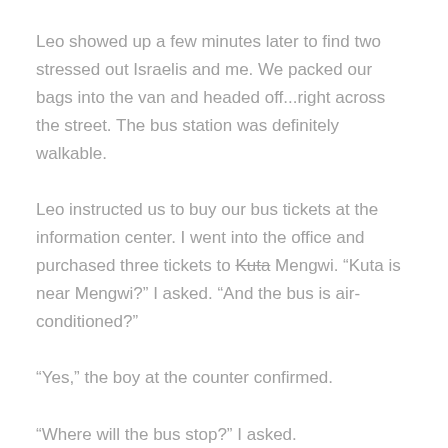Leo showed up a few minutes later to find two stressed out Israelis and me. We packed our bags into the van and headed off...right across the street. The bus station was definitely walkable.
Leo instructed us to buy our bus tickets at the information center. I went into the office and purchased three tickets to Kuta Mengwi. “Kuta is near Mengwi?” I asked. “And the bus is air-conditioned?”
“Yes,” the boy at the counter confirmed.
“Where will the bus stop?” I asked.
“Just wait here, and we’ll call you when it comes.”